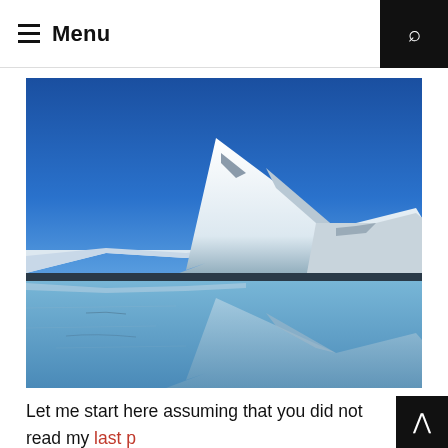Menu
[Figure (photo): Snowy mountain reflected in a calm arctic lake under a clear deep blue sky. The snow-capped peak rises on the right side with flat frozen shoreline in the foreground, and the mountain's reflection is visible in the still water below.]
Let me start here assuming that you did not read my last p… about burnout and reiterate that I am not a medical